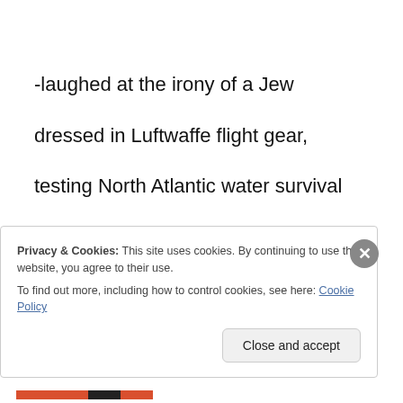-laughed at the irony of a Jew
dressed in Luftwaffe flight gear,
testing North Atlantic water survival
beneath the walls of Dachau.
He sat in a wooden tub,
Privacy & Cookies: This site uses cookies. By continuing to use this website, you agree to their use.
To find out more, including how to control cookies, see here: Cookie Policy